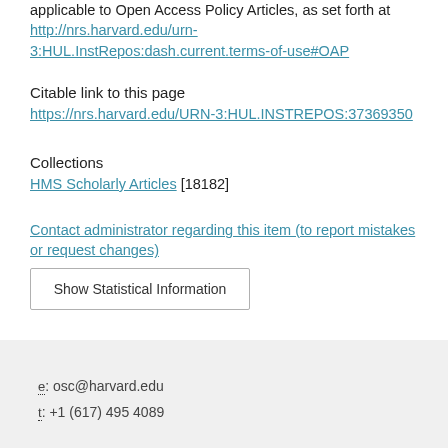applicable to Open Access Policy Articles, as set forth at http://nrs.harvard.edu/urn-3:HUL.InstRepos:dash.current.terms-of-use#OAP
Citable link to this page
https://nrs.harvard.edu/URN-3:HUL.INSTREPOS:37369350
Collections
HMS Scholarly Articles [18182]
Contact administrator regarding this item (to report mistakes or request changes)
Show Statistical Information
e: osc@harvard.edu  t: +1 (617) 495 4089